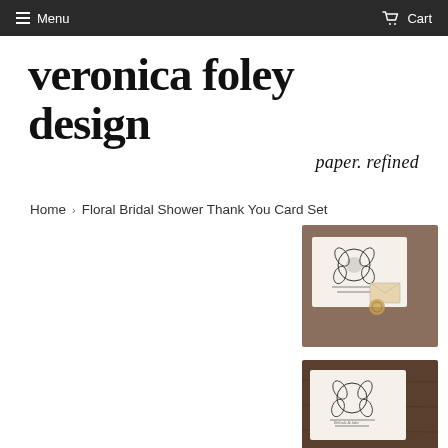Menu  Cart
[Figure (logo): Veronica Foley Design logo — large serif wordmark 'veronica foley design' with italic script tagline 'paper. refined']
Home › Floral Bridal Shower Thank You Card Set
[Figure (photo): Product photo of Floral Bridal Shower Thank You Card Set — white card with black floral design on wooden surface, top thumbnail]
[Figure (photo): Product photo of Floral Bridal Shower Thank You Card Set — white card with black floral design on wooden surface, second thumbnail]